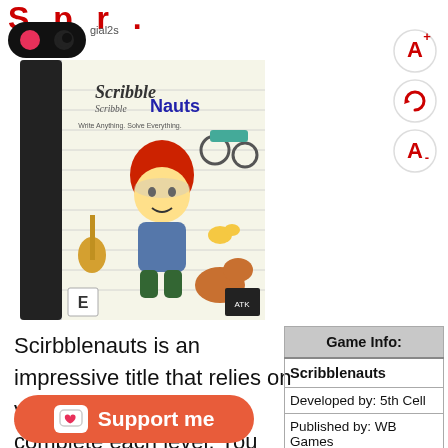gial2s
[Figure (screenshot): Nintendo DS Scribblenauts game box cover showing a cartoon character with red hair surrounded by various objects like a guitar, motorcycle, dinosaur, and duck. Wi-Fi enabled. Text: Write Anything. Solve Everything. ESRB E rating.]
Scirbblenauts is an impressive title that relies on your imagination to complete each level. You can write or type help you solve riddles. Most
| Game Info: |
| --- |
| Scribblenauts |
| Developed by: 5th Cell |
| Published by: WB Games |